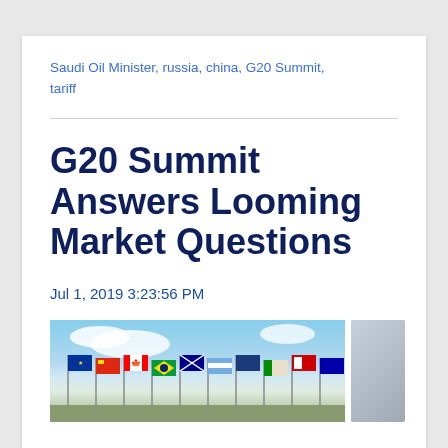Saudi Oil Minister, russia, china, G20 Summit, tariff
G20 Summit Answers Looming Market Questions
Jul 1, 2019 3:23:56 PM
[Figure (photo): Photo of flags from multiple G20 nations on flagpoles against a blue sky with clouds]